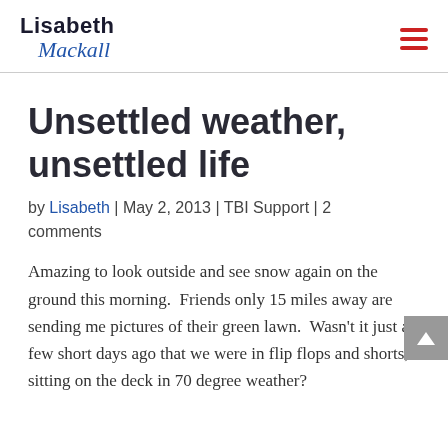Lisabeth Mackall
Unsettled weather, unsettled life
by Lisabeth | May 2, 2013 | TBI Support | 2 comments
Amazing to look outside and see snow again on the ground this morning.  Friends only 15 miles away are sending me pictures of their green lawn.  Wasn't it just a few short days ago that we were in flip flops and shorts, sitting on the deck in 70 degree weather?